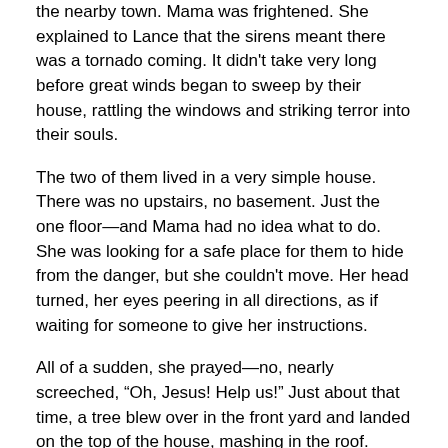the nearby town. Mama was frightened. She explained to Lance that the sirens meant there was a tornado coming. It didn't take very long before great winds began to sweep by their house, rattling the windows and striking terror into their souls.
The two of them lived in a very simple house. There was no upstairs, no basement. Just the one floor—and Mama had no idea what to do. She was looking for a safe place for them to hide from the danger, but she couldn't move. Her head turned, her eyes peering in all directions, as if waiting for someone to give her instructions.
All of a sudden, she prayed—no, nearly screeched, “Oh, Jesus! Help us!” Just about that time, a tree blew over in the front yard and landed on the top of the house, mashing in the roof.